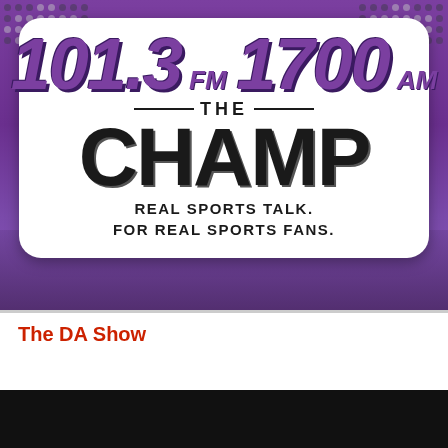[Figure (logo): The Champ radio station logo: 101.3 FM 1700 AM The Champ. Real Sports Talk. For Real Sports Fans. Purple background with white badge, purple and black text.]
The DA Show